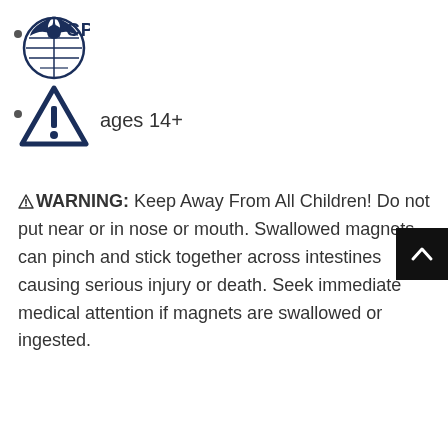[Figure (logo): CPSIA logo — eagle symbol with globe design, dark navy blue, with text 'CPSIA']
[Figure (illustration): Warning triangle icon — dark navy blue triangle with exclamation mark, indicating ages 14+]
ages 14+
⚠WARNING: Keep Away From All Children! Do not put near or in nose or mouth. Swallowed magnets can pinch and stick together across intestines causing serious injury or death. Seek immediate medical attention if magnets are swallowed or ingested.